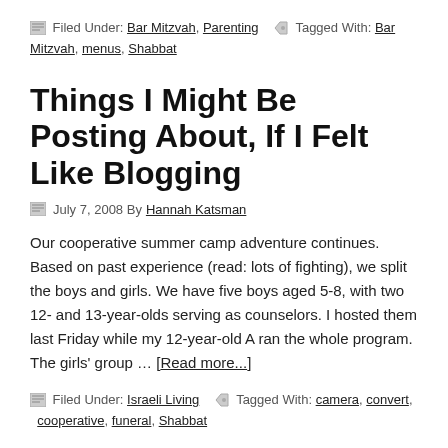Filed Under: Bar Mitzvah, Parenting   Tagged With: Bar Mitzvah, menus, Shabbat
Things I Might Be Posting About, If I Felt Like Blogging
July 7, 2008 By Hannah Katsman
Our cooperative summer camp adventure continues. Based on past experience (read: lots of fighting), we split the boys and girls. We have five boys aged 5-8, with two 12- and 13-year-olds serving as counselors. I hosted them last Friday while my 12-year-old A ran the whole program. The girls' group … [Read more...]
Filed Under: Israeli Living   Tagged With: camera, convert, cooperative, funeral, Shabbat